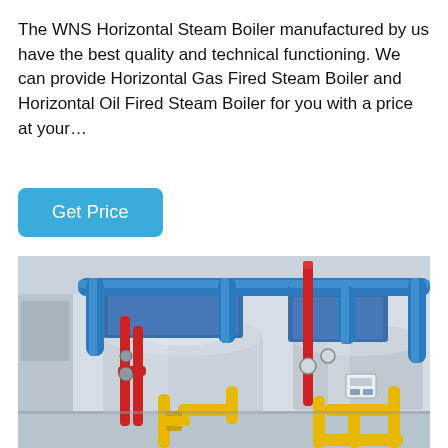The WNS Horizontal Steam Boiler manufactured by us have the best quality and technical functioning. We can provide Horizontal Gas Fired Steam Boiler and Horizontal Oil Fired Steam Boiler for you with a price at your…
Get Price
[Figure (photo): Industrial WNS horizontal steam boilers in a facility. Two large cylindrical silver boilers with blue insulated pipes overhead, yellow and red gas/oil supply pipes, and blue equipment housing visible in an industrial room.]